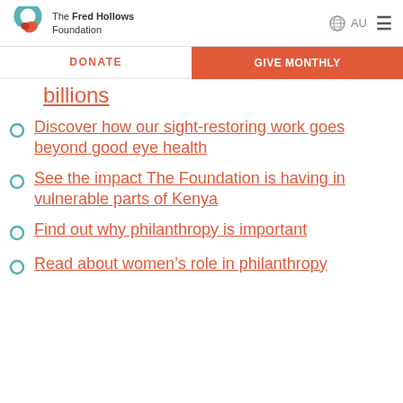The Fred Hollows Foundation | AU
DONATE | GIVE MONTHLY
billions
Discover how our sight-restoring work goes beyond good eye health
See the impact The Foundation is having in vulnerable parts of Kenya
Find out why philanthropy is important
Read about women's role in philanthropy